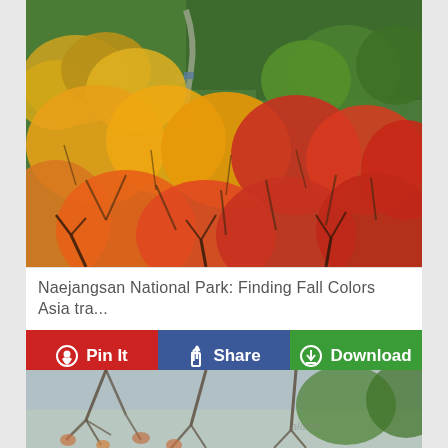[Figure (photo): Aerial view of Naejangsan National Park showing vibrant autumn fall foliage with red, orange, yellow, and green trees covering hillsides with a river/road visible in the background valley.]
Naejangsan National Park: Finding Fall Colors Asia tra...
Pin It
Share
Download
[Figure (photo): Partial view of tree branches with autumn foliage against a sky background, partially cropped at bottom of page.]